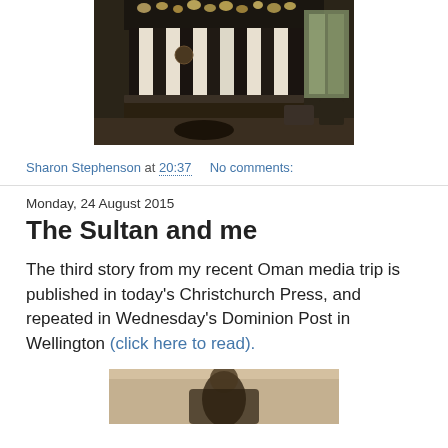[Figure (photo): Interior of an upscale restaurant or hotel lounge with large hanging pendant lights, dark shelving units, and seating area visible]
Sharon Stephenson at 20:37    No comments:
Monday, 24 August 2015
The Sultan and me
The third story from my recent Oman media trip is published in today's Christchurch Press, and repeated in Wednesday's Dominion Post in Wellington (click here to read).
[Figure (photo): Partial photo at bottom, appears to show a person or object, cropped]